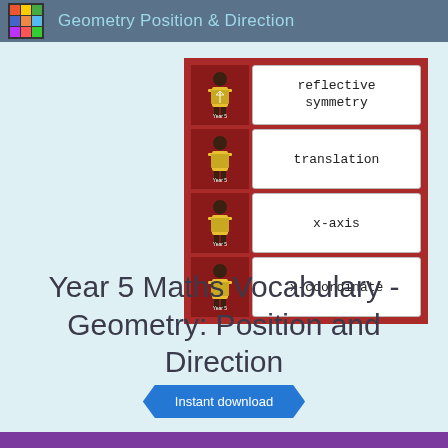Geometry Position & Direction
[Figure (illustration): Four vocabulary word cards on a red background. Each card has a small illustrated character holding a book on the left and a white rounded rectangle with the vocabulary word on the right. Words: reflective symmetry, translation, x-axis, x-coordinate]
Year 5 Maths Vocabulary - Geometry: Position and Direction
Instant download